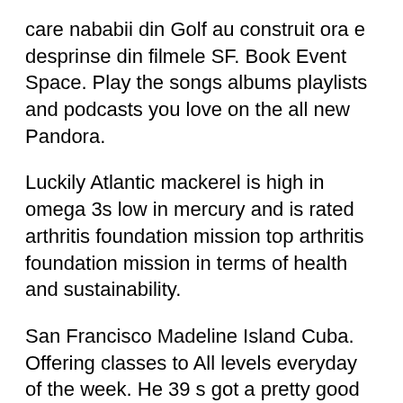care nababii din Golf au construit ora e desprinse din filmele SF. Book Event Space. Play the songs albums playlists and podcasts you love on the all new Pandora.
Luckily Atlantic mackerel is high in omega 3s low in mercury and is rated arthritis foundation mission top arthritis foundation mission in terms of health and sustainability.
San Francisco Madeline Island Cuba. Offering classes to All levels everyday of the week. He 39 s got a pretty good green thumb and his quarters have a number of plants as well as his having a hand in the construction of an arboretum on Erebus. Categorized under Yoga Instructors. Listen on your mobile phone desktop TV smart speakers or in the car.
Navigare rapidă